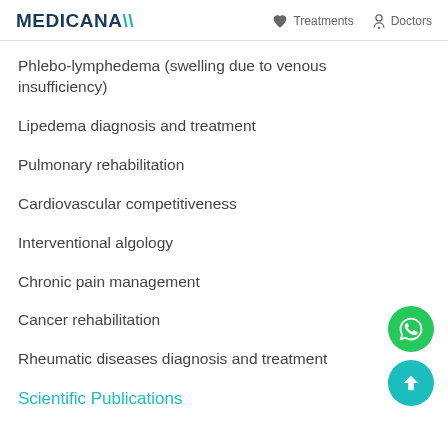MEDICANA  Treatments  Doctors
Phlebo-lymphedema (swelling due to venous insufficiency)
Lipedema diagnosis and treatment
Pulmonary rehabilitation
Cardiovascular competitiveness
Interventional algology
Chronic pain management
Cancer rehabilitation
Rheumatic diseases diagnosis and treatment
Scientific Publications